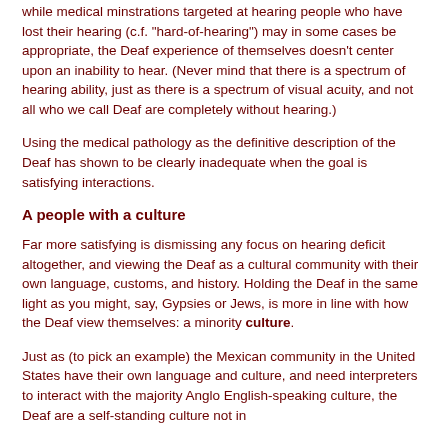while medical minstrations targeted at hearing people who have lost their hearing (c.f. "hard-of-hearing") may in some cases be appropriate, the Deaf experience of themselves doesn't center upon an inability to hear. (Never mind that there is a spectrum of hearing ability, just as there is a spectrum of visual acuity, and not all who we call Deaf are completely without hearing.)
Using the medical pathology as the definitive description of the Deaf has shown to be clearly inadequate when the goal is satisfying interactions.
A people with a culture
Far more satisfying is dismissing any focus on hearing deficit altogether, and viewing the Deaf as a cultural community with their own language, customs, and history. Holding the Deaf in the same light as you might, say, Gypsies or Jews, is more in line with how the Deaf view themselves: a minority culture.
Just as (to pick an example) the Mexican community in the United States have their own language and culture, and need interpreters to interact with the majority Anglo English-speaking culture, the Deaf are a self-standing culture not in immediate need of officially (To be continued...)